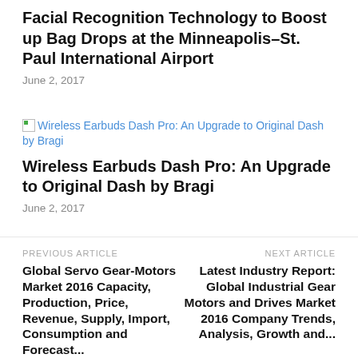Facial Recognition Technology to Boost up Bag Drops at the Minneapolis–St. Paul International Airport
June 2, 2017
[Figure (illustration): Broken image placeholder for: Wireless Earbuds Dash Pro: An Upgrade to Original Dash by Bragi]
Wireless Earbuds Dash Pro: An Upgrade to Original Dash by Bragi
June 2, 2017
PREVIOUS ARTICLE
Global Servo Gear-Motors Market 2016 Capacity, Production, Price, Revenue, Supply, Import, Consumption and Forecast...
NEXT ARTICLE
Latest Industry Report: Global Industrial Gear Motors and Drives Market 2016 Company Trends, Analysis, Growth and...